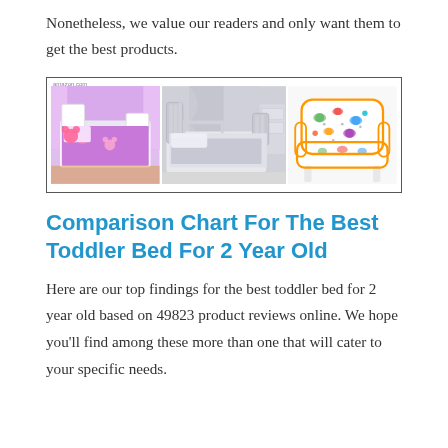Nonetheless, we value our readers and only want them to get the best products.
[Figure (photo): Three product images side by side in a bordered frame: a Minnie Mouse toddler bedding set in purple, a grey toddler bed with bedding, and a colorful dinosaur-print armchair.]
Comparison Chart For The Best Toddler Bed For 2 Year Old
Here are our top findings for the best toddler bed for 2 year old based on 49823 product reviews online. We hope you'll find among these more than one that will cater to your specific needs.